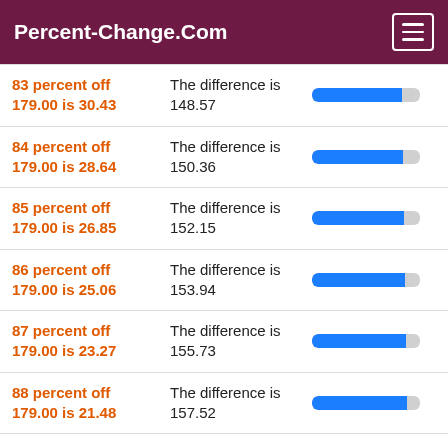Percent-Change.Com
83 percent off 179.00 is 30.43 | The difference is 148.57
84 percent off 179.00 is 28.64 | The difference is 150.36
85 percent off 179.00 is 26.85 | The difference is 152.15
86 percent off 179.00 is 25.06 | The difference is 153.94
87 percent off 179.00 is 23.27 | The difference is 155.73
88 percent off 179.00 is 21.48 | The difference is 157.52
89 percent off 179.00 is 19.69 | The difference is 159.31